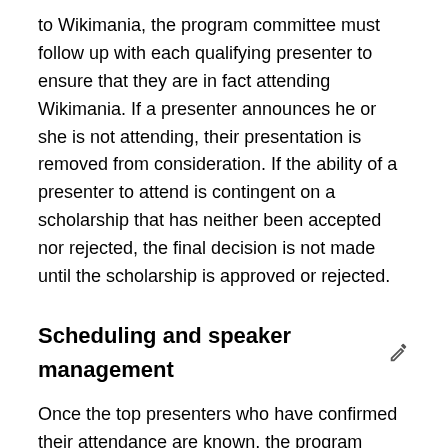to Wikimania, the program committee must follow up with each qualifying presenter to ensure that they are in fact attending Wikimania. If a presenter announces he or she is not attending, their presentation is removed from consideration. If the ability of a presenter to attend is contingent on a scholarship that has neither been accepted nor rejected, the final decision is not made until the scholarship is approved or rejected.
Scheduling and speaker management
Once the top presenters who have confirmed their attendance are known, the program committee must then undertake the arduous task of sorting the presentations into the grid of concurrent tracks. Different considerations must be balanced. First of all, you will probably not have a perfectly equal presentations between all the tracks. As